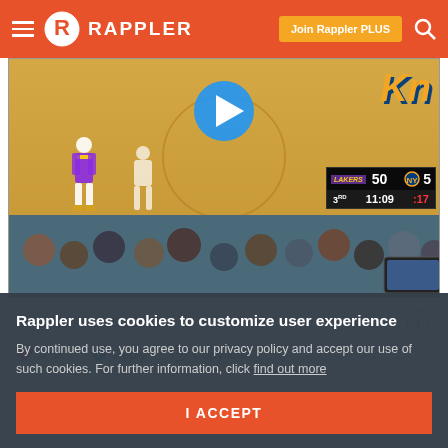Rappler — Join Rappler PLUS
[Figure (screenshot): NBA basketball game screenshot showing court view with Lakers vs Knicks scoreboard. Lakers 50, Knicks 5x, 3rd quarter, 11:09 game clock, :17 shot clock. Play button overlay visible. Crowd visible in lower portion.]
2:01 AM · Jan 23, 2020
4.5K   Reply   Copy link
Rappler uses cookies to customize user experience
By continued use, you agree to our privacy policy and accept our use of such cookies. For further information, click find out more
I ACCEPT